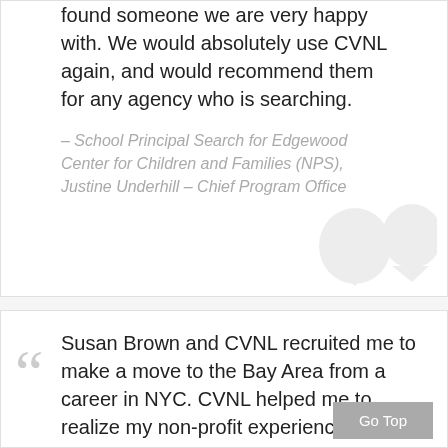found someone we are very happy with. We would absolutely use CVNL again, and would recommend them for any agency who is searching.
– School Principal Search for Edgewood Center for Children and Families (NPS), Justine Underhill – Chief Program Officer
Susan Brown and CVNL recruited me to make a move to the Bay Area from a career in NYC. CVNL helped me to realize my non-profit experience would be valued in an important non-profit. Through personal service unlike anything I have experienced in my career, I am